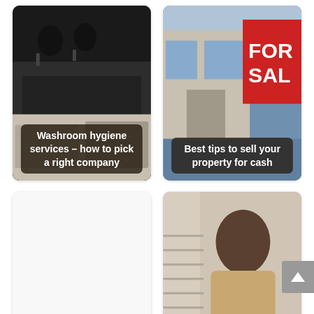[Figure (photo): Washroom/kitchen interior with dark ceiling lights and appliances, with overlay text: Washroom hygiene services – how to pick a right company]
[Figure (photo): House exterior with FOR SALE sign, with overlay text: Best tips to sell your property for cash]
[Figure (photo): Blank white card with overlay text: What Category of Products and Services Does Victoria...]
[Figure (photo): Man in side profile looking at something, home warranty concept, with overlay text: Why Getting A Home Warranty is Beneficial?]
[Figure (photo): Blank white card with overlay text: Awesome Papercraft Dioramas Of Popular TV Show Sets]